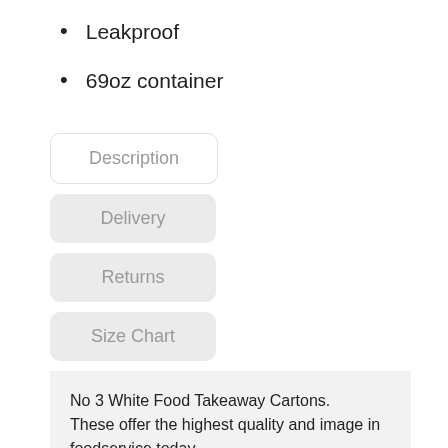Leakproof
69oz container
Description | Delivery | Returns | Size Chart (tabs)
No 3 White Food Takeaway Cartons.
These offer the highest quality and image in foodservice today.
Our products are leak and grease resistant, microwaveable, stackable, and are easy to use.
They will easily hold hot, cold, wet, or dry foods.
Most importantly, the food containers will keep food fresh for your customers.
Also available in Brown